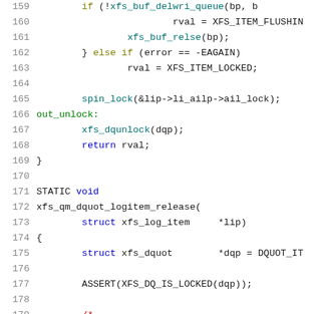[Figure (screenshot): Source code listing showing C code for XFS Linux kernel module, lines 159-180, with syntax highlighting. Line numbers in gray on left, keywords highlighted in blue, olive, green, red, and teal colors.]